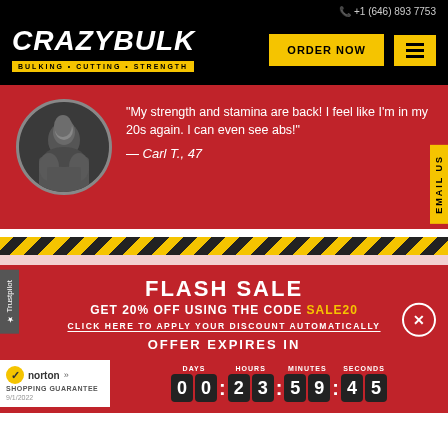+1 (646) 893 7753
CRAZYBULK
BULKING • CUTTING • STRENGTH
ORDER NOW
"My strength and stamina are back! I feel like I'm in my 20s again. I can even see abs!" — Carl T., 47
EMAIL US
★ Trustpilot
FLASH SALE
GET 20% OFF USING THE CODE SALE20
CLICK HERE TO APPLY YOUR DISCOUNT AUTOMATICALLY
OFFER EXPIRES IN
DAYS 00 HOURS 23 MINUTES 59 SECONDS 45
[Figure (logo): Norton Shopping Guarantee badge with checkmark, dated 9/1/2022]
[Figure (photo): Circular profile photo of muscular man (Carl T., 47)]